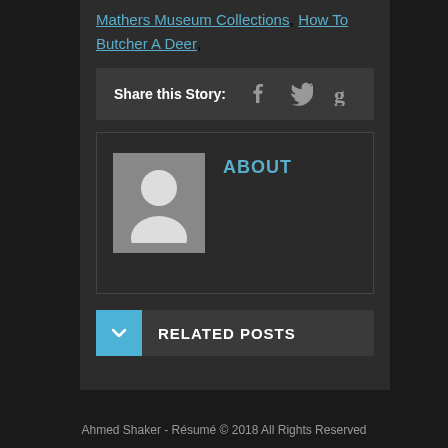Mathers Museum Collections, How To Butcher A Deer,
Share this Story:
[Figure (other): About section with a blank avatar placeholder and the text ABOUT in blue]
RELATED POSTS
Ahmed Shaker - Résumé © 2018 All Rights Reserved